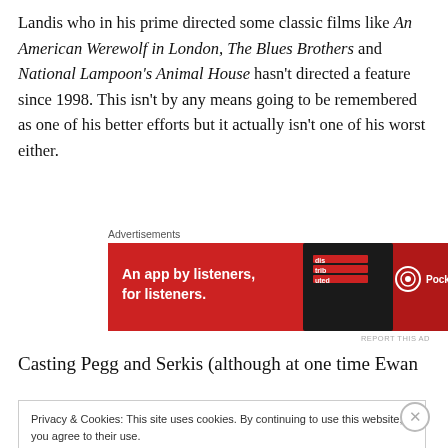Landis who in his prime directed some classic films like An American Werewolf in London, The Blues Brothers and National Lampoon's Animal House hasn't directed a feature since 1998. This isn't by any means going to be remembered as one of his better efforts but it actually isn't one of his worst either.
Advertisements
[Figure (other): Pocket Casts advertisement banner: red background with phone image, text reading 'An app by listeners, for listeners.' and Pocket Casts logo]
Casting Pegg and Serkis (although at one time Ewan
Privacy & Cookies: This site uses cookies. By continuing to use this website, you agree to their use.
To find out more, including how to control cookies, see here: Cookie Policy